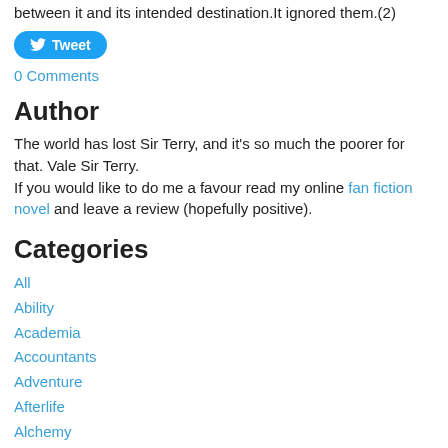between it and its intended destination.It ignored them.(2)
[Figure (other): Twitter Tweet button]
0 Comments
Author
The world has lost Sir Terry, and it's so much the poorer for that. Vale Sir Terry.
If you would like to do me a favour read my online fan fiction novel and leave a review (hopefully positive).
Categories
All
Ability
Academia
Accountants
Adventure
Afterlife
Alchemy
Alcohol
Ambition